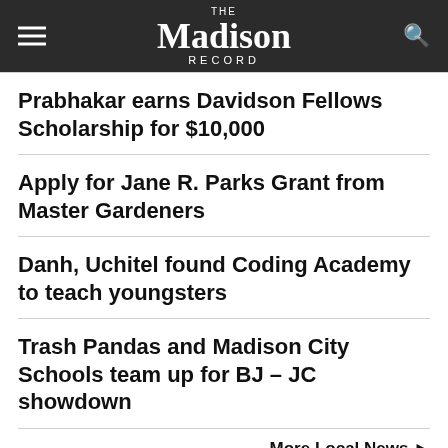The Madison Record
Prabhakar earns Davidson Fellows Scholarship for $10,000
Apply for Jane R. Parks Grant from Master Gardeners
Danh, Uchitel found Coding Academy to teach youngsters
Trash Pandas and Madison City Schools team up for BJ – JC showdown
More Local News ▶
POLL
Sorry there are no polls available at the moment.